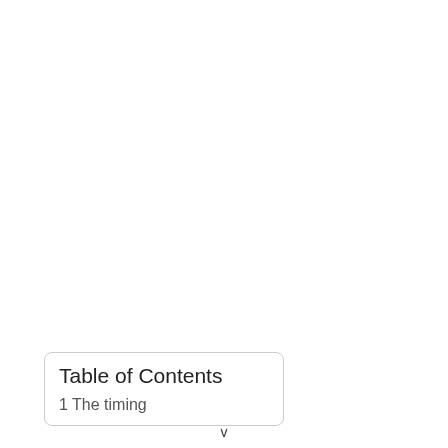Table of Contents
1  The timing
v